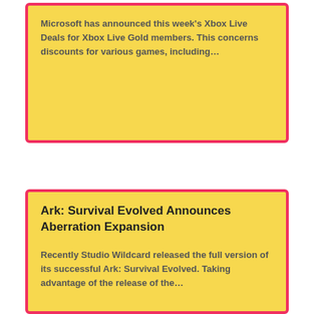Microsoft has announced this week's Xbox Live Deals for Xbox Live Gold members. This concerns discounts for various games, including…
Ark: Survival Evolved Announces Aberration Expansion
Recently Studio Wildcard released the full version of its successful Ark: Survival Evolved. Taking advantage of the release of the…